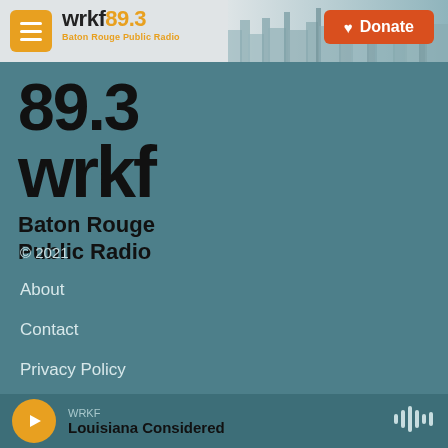wrkf89.3 Baton Rouge Public Radio | Donate
[Figure (logo): WRKF 89.3 Baton Rouge Public Radio large logo mark in black text on teal background]
© 2021
About
Contact
Privacy Policy
Public File
WRKF | Louisiana Considered